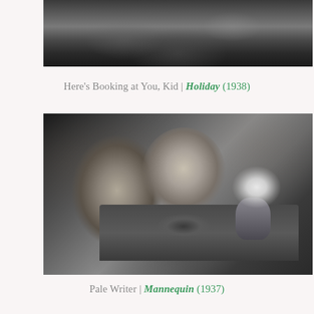[Figure (photo): Black and white film still from Holiday (1938), showing outdoor scene with figures]
Here's Booking at You, Kid | Holiday (1938)
[Figure (photo): Black and white film still from Mannequin (1937), showing a man and woman at a table with food and a vase with white decoration]
Pale Writer | Mannequin (1937)